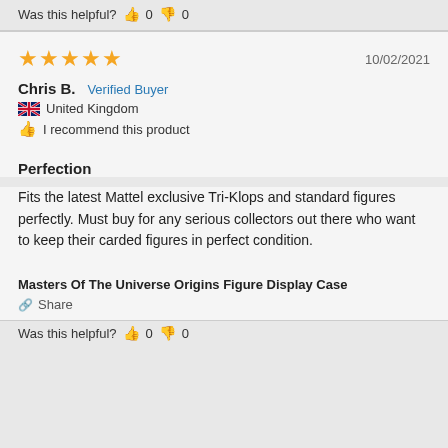Was this helpful? 👍 0 👎 0
★★★★★  10/02/2021
Chris B.  Verified Buyer
🇬🇧 United Kingdom
👍 I recommend this product
Perfection
Fits the latest Mattel exclusive Tri-Klops and standard figures perfectly. Must buy for any serious collectors out there who want to keep their carded figures in perfect condition.
Masters Of The Universe Origins Figure Display Case
Share
Was this helpful? 👍 0 👎 0